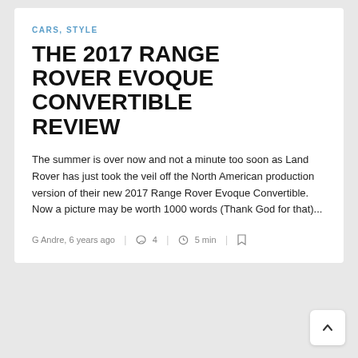CARS, STYLE
THE 2017 RANGE ROVER EVOQUE CONVERTIBLE REVIEW
The summer is over now and not a minute too soon as Land Rover has just took the veil off the North American production version of their new 2017 Range Rover Evoque Convertible. Now a picture may be worth 1000 words (Thank God for that)...
G Andre, 6 years ago | 4 | 5 min |